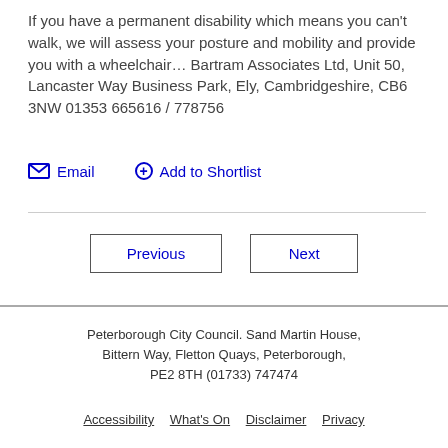If you have a permanent disability which means you can't walk, we will assess your posture and mobility and provide you with a wheelchair… Bartram Associates Ltd, Unit 50, Lancaster Way Business Park, Ely, Cambridgeshire, CB6 3NW 01353 665616 / 778756
Email   Add to Shortlist
Previous   Next
Peterborough City Council. Sand Martin House, Bittern Way, Fletton Quays, Peterborough, PE2 8TH (01733) 747474
Accessibility  What's On  Disclaimer  Privacy